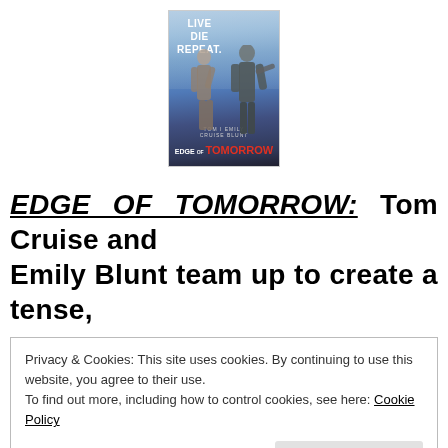[Figure (photo): Movie poster for Edge of Tomorrow featuring two figures in combat suits. Text reads LIVE DIE REPEAT at top left, with EDGE OF TOMORROW title at bottom.]
EDGE OF TOMORROW: Tom Cruise and Emily Blunt team up to create a tense,
Privacy & Cookies: This site uses cookies. By continuing to use this website, you agree to their use.
To find out more, including how to control cookies, see here: Cookie Policy
Close and accept